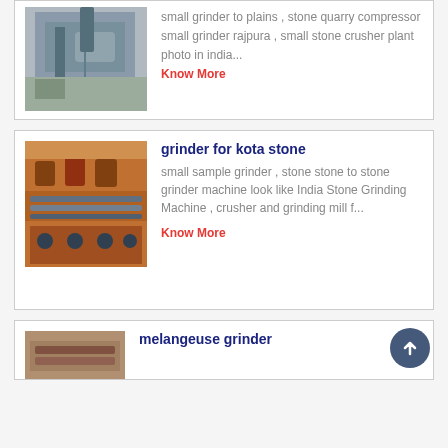[Figure (photo): Industrial stone grinder or compressor machine, outdoor photo]
small grinder to plains , stone quarry compressor small grinder rajpura , small stone crusher plant photo in india...
Know More
grinder for kota stone
[Figure (photo): Industrial stone grinding or crushing machinery with chains and metal components]
small sample grinder , stone stone to stone grinder machine look like India Stone Grinding Machine , crusher and grinding mill f...
Know More
melangeuse grinder
[Figure (photo): Industrial grinder or crushing machine, partial view]